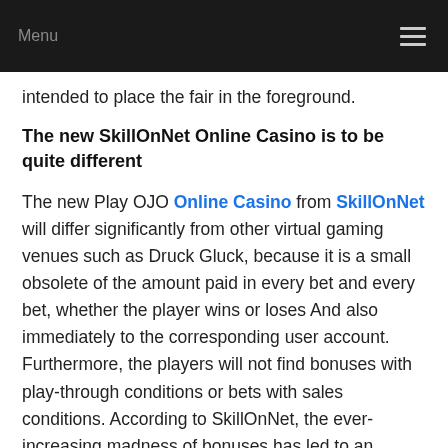Menu
intended to place the fair in the foreground.
The new SkillOnNet Online Casino is to be quite different
The new Play OJO Online Casino from SkillOnNet will differ significantly from other virtual gaming venues such as Druck Gluck, because it is a small obsolete of the amount paid in every bet and every bet, whether the player wins or loses And also immediately to the corresponding user account. Furthermore, the players will not find bonuses with play-through conditions or bets with sales conditions. According to SkillOnNet, the ever-increasing madness of bonuses has led to an alienation between players and online casinos. Not infrequently some Gambler feel in some Internet casino rather as a milking cow, rather